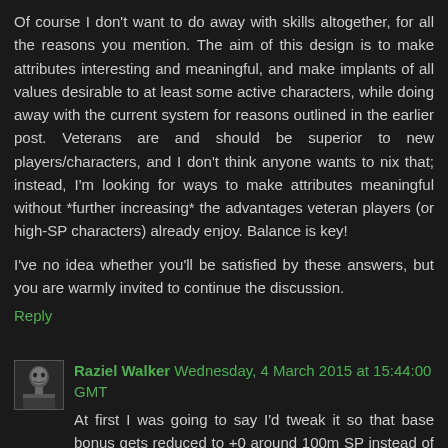Of course I don't want to do away with skills altogether, for all the reasons you mention. The aim of this design is to make attributes interesting and meaningful, and make implants of all values desirable to at least some active characters, while doing away with the current system for reasons outlined in the earlier post. Veterans are and should be superior to new players/characters, and I don't think anyone wants to nix that; instead, I'm looking for ways to make attributes meaningful without *further increasing* the advantages veteran players (or high-SP characters) already enjoy. Balance is key!
I've no idea whether you'll be satisfied by these answers, but you are warmly invited to continue the discussion.
Reply
Raziel Walker Wednesday, 4 March 2015 at 15:44:00 GMT
At first I was going to say I'd tweak it so that base bonus gets reduced to +0 around 100m SP instead of at 40m